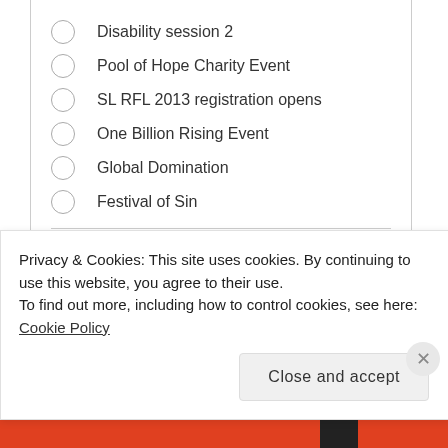Disability session 2
Pool of Hope Charity Event
SL RFL 2013 registration opens
One Billion Rising Event
Global Domination
Festival of Sin
VOTE
View Results · Crowdsignal.com
Privacy & Cookies: This site uses cookies. By continuing to use this website, you agree to their use.
To find out more, including how to control cookies, see here: Cookie Policy
Close and accept